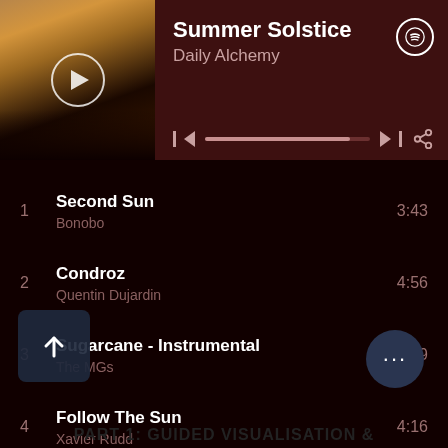[Figure (screenshot): Spotify playlist interface showing 'Summer Solstice' by Daily Alchemy with album art, playback controls, and 6 tracks listed]
Summer Solstice
Daily Alchemy
1  Second Sun  Bonobo  3:43
2  Condroz  Quentin Dujardin  4:56
3  Sugarcane - Instrumental  The MGs  3:09
4  Follow The Sun  Xavier Rudd  4:16
5  Labyrinth  Emancipator  4:53
6  [B]ones  Be Svendsen  7:55
PART 1: GUIDED VISUALISATION &